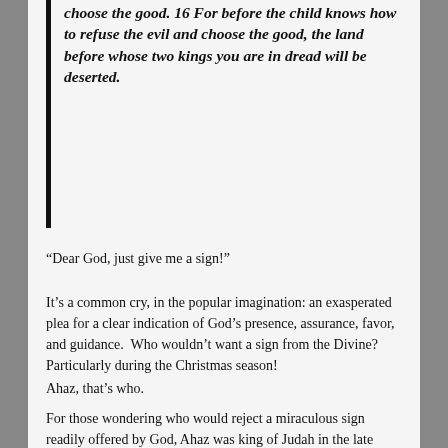choose the good. 16 For before the child knows how to refuse the evil and choose the good, the land before whose two kings you are in dread will be deserted.
“Dear God, just give me a sign!”
It’s a common cry, in the popular imagination: an exasperated plea for a clear indication of God’s presence, assurance, favor, and guidance.  Who wouldn’t want a sign from the Divine? Particularly during the Christmas season!
Ahaz, that’s who.
For those wondering who would reject a miraculous sign readily offered by God, Ahaz was king of Judah in the late eighth century BCE. According to Hebrew scriptures, his reign was